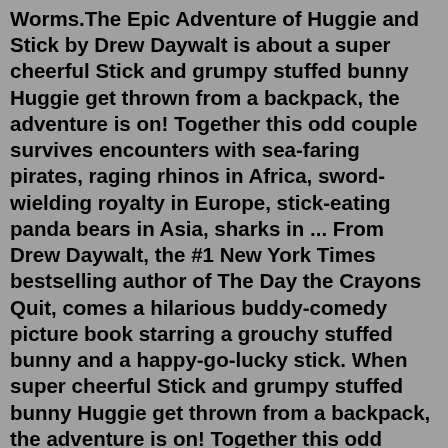Worms.The Epic Adventure of Huggie and Stick by Drew Daywalt is about a super cheerful Stick and grumpy stuffed bunny Huggie get thrown from a backpack, the adventure is on! Together this odd couple survives encounters with sea-faring pirates, raging rhinos in Africa, sword-wielding royalty in Europe, stick-eating panda bears in Asia, sharks in ... From Drew Daywalt, the #1 New York Times bestselling author of The Day the Crayons Quit, comes a hilarious buddy-comedy picture book starring a grouchy stuffed bunny and a happy-go-lucky stick. When super cheerful Stick and grumpy stuffed bunny Huggie get thrown from a backpack, the adventure is on! Together this odd couple survives encounters ... The Epic Adventures of Huggie and Stick — Drew Daywalt The Epic Adventures of Huggie and Stick A hilarious buddy-comedy picture book starring a grouchy stuffed bunny and a happy-go-lucky stick. When super cheerful Stick and grumpy stuffed bunny Huggie get thrown from a